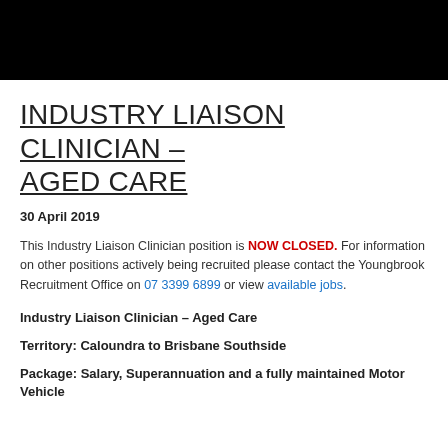[Figure (other): Black banner bar at the top of the page]
INDUSTRY LIAISON CLINICIAN – AGED CARE
30 April 2019
This Industry Liaison Clinician position is NOW CLOSED. For information on other positions actively being recruited please contact the Youngbrook Recruitment Office on 07 3399 6899 or view available jobs.
Industry Liaison Clinician – Aged Care
Territory: Caloundra to Brisbane Southside
Package:  Salary, Superannuation and a fully maintained Motor Vehicle